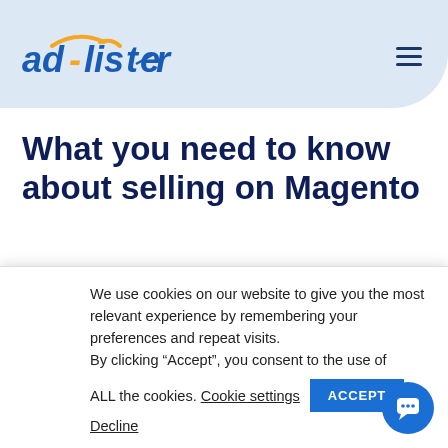ad-lister [logo] [hamburger menu]
What you need to know about selling on Magento
What Is Magento?
Magento is an open-source eCommerce platform (built in
We use cookies on our website to give you the most relevant experience by remembering your preferences and repeat visits.
By clicking “Accept”, you consent to the use of ALL the cookies. Cookie settings
Decline